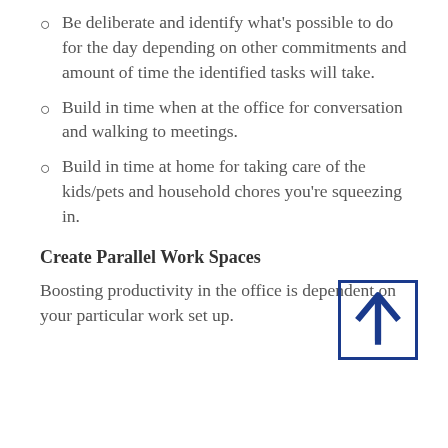Be deliberate and identify what's possible to do for the day depending on other commitments and amount of time the identified tasks will take.
Build in time when at the office for conversation and walking to meetings.
Build in time at home for taking care of the kids/pets and household chores you're squeezing in.
Create Parallel Work Spaces
Boosting productivity in the office is dependent on your particular work set up.